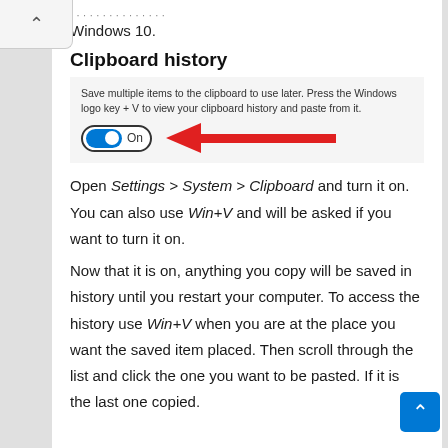Windows 10.
Clipboard history
[Figure (screenshot): Windows 10 Clipboard history settings panel showing a toggle switch set to On, with a red arrow pointing to the toggle from the right.]
Open Settings > System > Clipboard and turn it on. You can also use Win+V and will be asked if you want to turn it on.
Now that it is on, anything you copy will be saved in history until you restart your computer. To access the history use Win+V when you are at the place you want the saved item placed. Then scroll through the list and click the one you want to be pasted. If it is the last one copied.